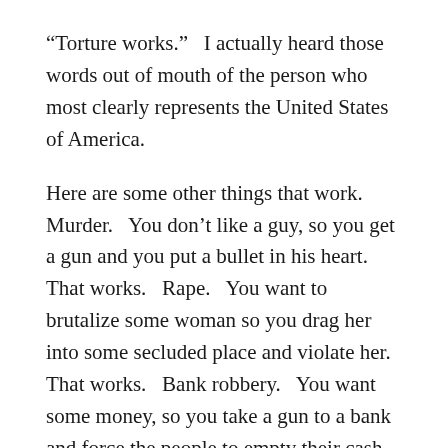“Torture works.”  I actually heard those words out of mouth of the person who most clearly represents the United States of America.
Here are some other things that work.  Murder.  You don’t like a guy, so you get a gun and you put a bullet in his heart.  That works.  Rape.  You want to brutalize some woman so you drag her into some secluded place and violate her.  That works.  Bank robbery.  You want some money, so you take a gun to a bank and force the people to empty their cash drawers into your bag.  That works.
We are Americans.  That means that we are fully committed to the American ideal.  We hold, without question, that all human beings are created equal and